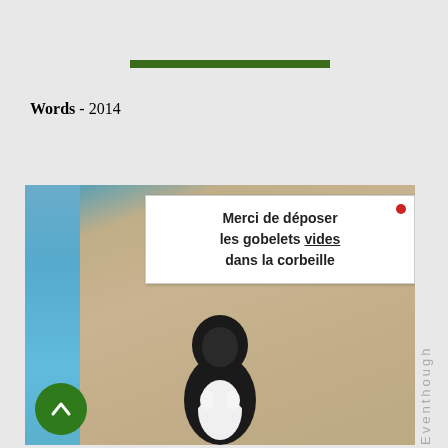Words - 2014
[Figure (photo): Photo of a wall with a posted sign reading 'Merci de déposer les gobelets vides dans la corbeille' and a black and white object below it resembling a penguin figurine. A red pin is visible on the sign.]
Eventhough